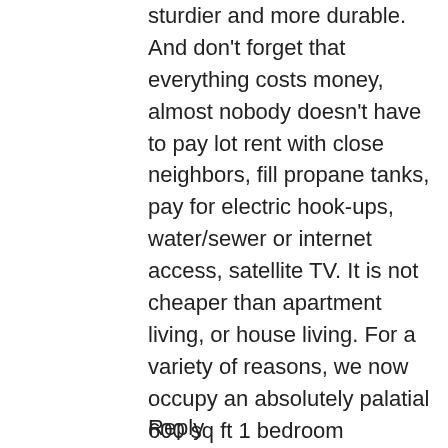sturdier and more durable. And don't forget that everything costs money, almost nobody doesn't have to pay lot rent with close neighbors, fill propane tanks, pay for electric hook-ups, water/sewer or internet access, satellite TV. It is not cheaper than apartment living, or house living. For a variety of reasons, we now occupy an absolutely palatial 600 sq ft 1 bedroom apartment now, and love it!
Reply